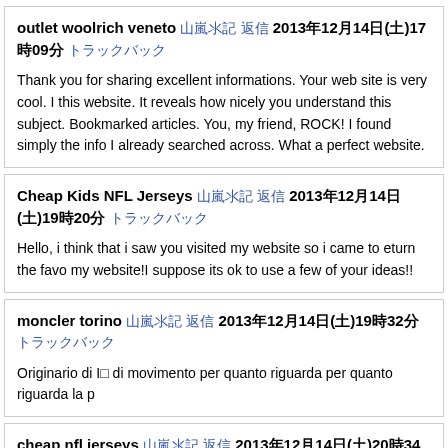outlet woolrich veneto [link] [link] 2013年12月14日(土)17時09分 [link]

Thank you for sharing excellent informations. Your web site is very cool. I this website. It reveals how nicely you understand this subject. Bookmarked articles. You, my friend, ROCK! I found simply the info I already searched across. What a perfect website.
Cheap Kids NFL Jerseys [link] [link] 2013年12月14日(土)19時20分 [link]

Hello, i think that i saw you visited my website so i came to eturn the favo my website!I suppose its ok to use a few of your ideas!!
moncler torino [link] [link] 2013年12月14日(土)19時32分 [link]

Originario di I□ di movimento per quanto riguarda per quanto riguarda la p
cheap nfl jerseys [link] [link] 2013年12月14日(土)20時34分 [link]

established O'Neill for longer than 40 a number of just released a resourc